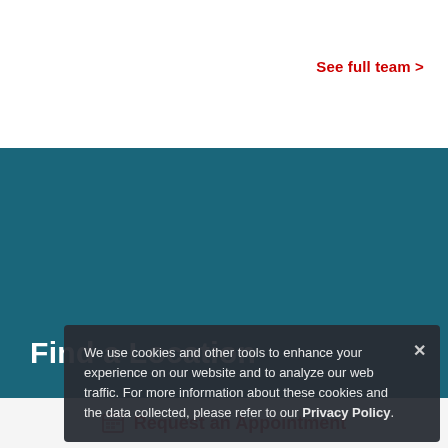See full team >
Find a Location
Search by zip code:
Search →
We use cookies and other tools to enhance your experience on our website and to analyze our web traffic. For more information about these cookies and the data collected, please refer to our Privacy Policy.
Request an Appointment